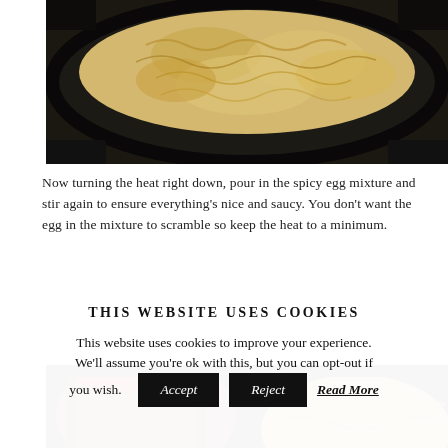[Figure (photo): Close-up of curly ramen noodles cooking in a dark cast iron skillet on a stove, viewed from above, showing pale yellow noodles against a dark pan background.]
Now turning the heat right down, pour in the spicy egg mixture and stir again to ensure everything's nice and saucy. You don't want the egg in the mixture to scramble so keep the heat to a minimum.
[Figure (photo): Partial view of a cooking pan with noodles and reddish-brown sauce mixture being poured or stirred in, dark background.]
THIS WEBSITE USES COOKIES
This website uses cookies to improve your experience. We'll assume you're ok with this, but you can opt-out if you wish.
Accept   Reject   Read More